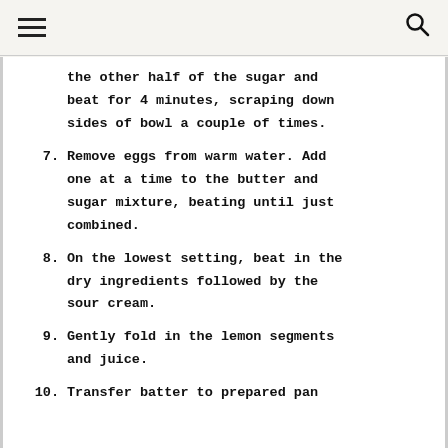≡  [menu]    [search]
the other half of the sugar and beat for 4 minutes, scraping down sides of bowl a couple of times.
7. Remove eggs from warm water. Add one at a time to the butter and sugar mixture, beating until just combined.
8. On the lowest setting, beat in the dry ingredients followed by the sour cream.
9. Gently fold in the lemon segments and juice.
10. Transfer batter to prepared pan